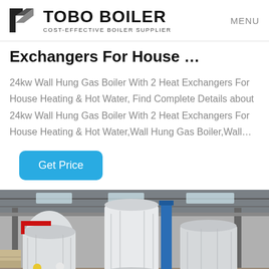TOBO BOILER — COST-EFFECTIVE BOILER SUPPLIER — MENU
Exchangers For House …
24kw Wall Hung Gas Boiler With 2 Heat Exchangers For House Heating & Hot Water, Find Complete Details about 24kw Wall Hung Gas Boiler With 2 Heat Exchangers For House Heating & Hot Water,Wall Hung Gas Boiler,Wall…
[Figure (other): Blue 'Get Price' button]
[Figure (photo): Factory interior showing large industrial boilers wrapped in white plastic, workers in hard hats, industrial warehouse ceiling with cranes and skylights]